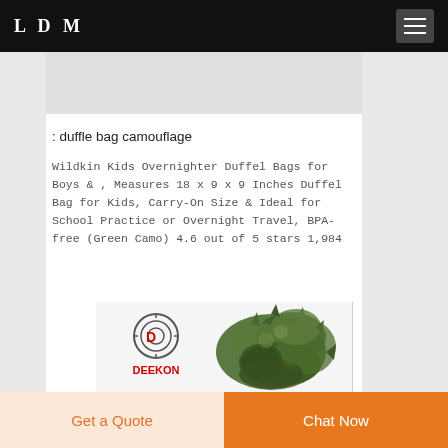LDM
: duffle bag camouflage
Wildkin Kids Overnighter Duffel Bags for Boys & , Measures 18 x 9 x 9 Inches Duffel Bag for Kids, Carry-On Size & Ideal for School Practice or Overnight Travel, BPA-free (Green Camo) 4.6 out of 5 stars 1,984
[Figure (logo): DEEKON logo with circular target icon and green camouflage netting product image]
Get a Quote
Chat Now